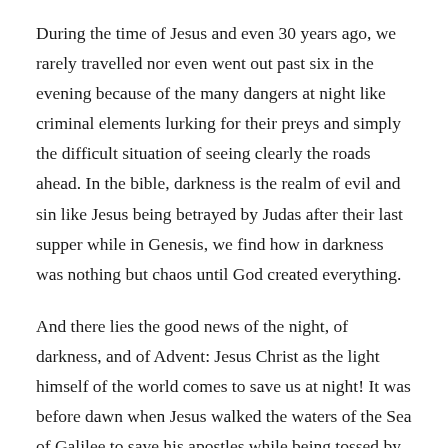During the time of Jesus and even 30 years ago, we rarely travelled nor even went out past six in the evening because of the many dangers at night like criminal elements lurking for their preys and simply the difficult situation of seeing clearly the roads ahead. In the bible, darkness is the realm of evil and sin like Jesus being betrayed by Judas after their last supper while in Genesis, we find how in darkness was nothing but chaos until God created everything.
And there lies the good news of the night, of darkness, and of Advent: Jesus Christ as the light himself of the world comes to save us at night! It was before dawn when Jesus walked the waters of the Sea of Galilee to save his apostles while being tossed by giant waves in their small boat. It was also in the darkness of the night